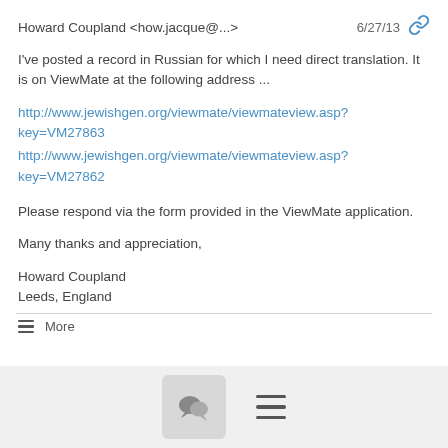Howard Coupland <how.jacque@...>   6/27/13
I've posted a record in Russian for which I need direct translation. It is on ViewMate at the following address ...
http://www.jewishgen.org/viewmate/viewmateview.asp?key=VM27863
http://www.jewishgen.org/viewmate/viewmateview.asp?key=VM27862
Please respond via the form provided in the ViewMate application.
Many thanks and appreciation,
Howard Coupland
Leeds, England
≡ More